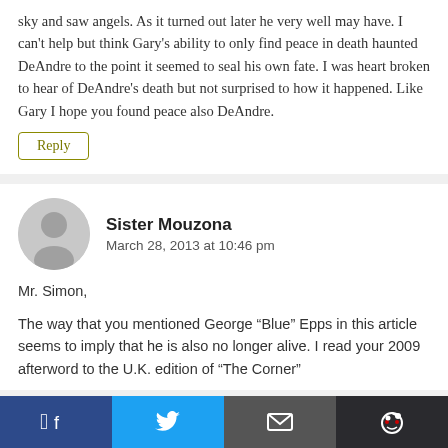sky and saw angels. As it turned out later he very well may have. I can't help but think Gary's ability to only find peace in death haunted DeAndre to the point it seemed to seal his own fate. I was heart broken to hear of DeAndre's death but not surprised to how it happened. Like Gary I hope you found peace also DeAndre.
Reply
Sister Mouzona
March 28, 2013 at 10:46 pm
Mr. Simon,
The way that you mentioned George “Blue” Epps in this article seems to imply that he is also no longer alive. I read your 2009 afterword to the U.K. edition of “The Corner”